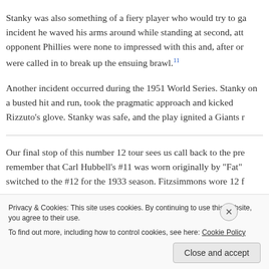Stanky was also something of a fiery player who would try to ga incident he waved his arms around while standing at second, att opponent Phillies were none to impressed with this and, after or were called in to break up the ensuing brawl.11
Another incident occurred during the 1951 World Series. Stanky on a busted hit and run, took the pragmatic approach and kicked Rizzuto's glove. Stanky was safe, and the play ignited a Giants r
Our final stop of this number 12 tour sees us call back to the pre remember that Carl Hubbell's #11 was worn originally by "Fat" switched to the #12 for the 1933 season. Fitzsimmons wore 12 f
Privacy & Cookies: This site uses cookies. By continuing to use this website, you agree to their use.
To find out more, including how to control cookies, see here: Cookie Policy